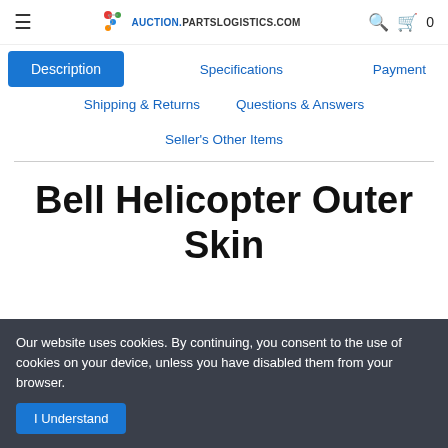AuctionPartsLogistics.com
Description
Specifications
Payment
Shipping & Returns
Questions & Answers
Seller's Other Items
Bell Helicopter Outer Skin
Our website uses cookies. By continuing, you consent to the use of cookies on your device, unless you have disabled them from your browser.
I Understand